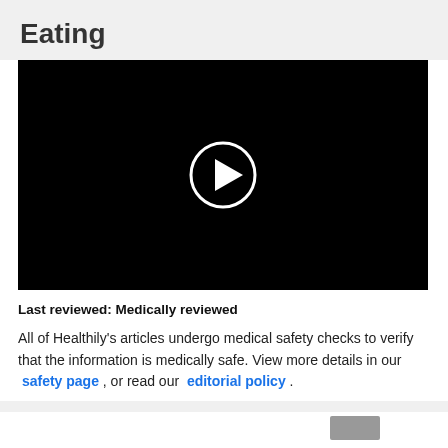Eating
[Figure (screenshot): Black video player with a white circular play button in the center]
Last reviewed: Medically reviewed
All of Healthily’s articles undergo medical safety checks to verify that the information is medically safe. View more details in our safety page , or read our editorial policy .